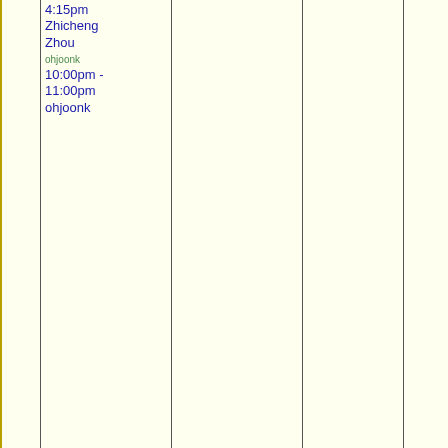|  | Col1 | Col2 | Col3 | Col4 |
| --- | --- | --- | --- | --- |
| 4:15pm Zhicheng Zhou
ohjoonk
10:00pm - 11:00pm
ohjoonk |  |  |  | 3:00pm - 5:00pm
Ashley McDono...
priyahanda
3:00pm - 5:00pm
Priya Handa
rachela2
5:00pm - 5:45pm
Rachel Arnold
jessh4
6:00pm - 8:30pm
Jessica (Gerner)
thpullia
8:45pm - 10:00pm
Thomas Pulliam (Nghiem |